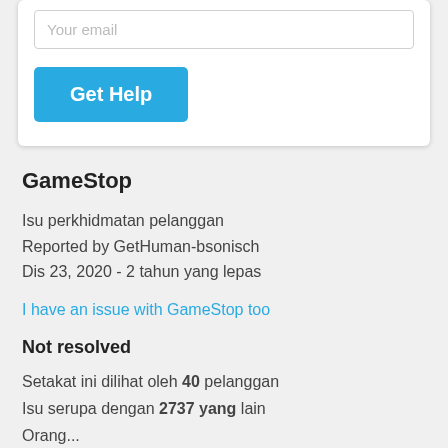[Figure (screenshot): Email input field with placeholder text 'Your email' and a blue 'Get Help' button inside a white card]
GameStop
Isu perkhidmatan pelanggan
Reported by GetHuman-bsonisch
Dis 23, 2020 - 2 tahun yang lepas
I have an issue with GameStop too
Not resolved
Setakat ini dilihat oleh 40 pelanggan
Isu serupa dengan 2737 yang lain
Orang...